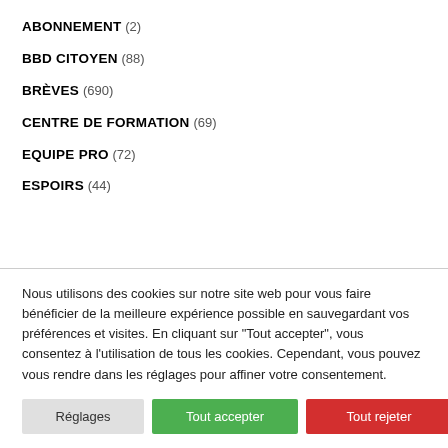ABONNEMENT (2)
BBD CITOYEN (88)
BRÈVES (690)
CENTRE DE FORMATION (69)
EQUIPE PRO (72)
ESPOIRS (44)
Nous utilisons des cookies sur notre site web pour vous faire bénéficier de la meilleure expérience possible en sauvegardant vos préférences et visites. En cliquant sur "Tout accepter", vous consentez à l'utilisation de tous les cookies. Cependant, vous pouvez vous rendre dans les réglages pour affiner votre consentement.
Réglages | Tout accepter | Tout rejeter